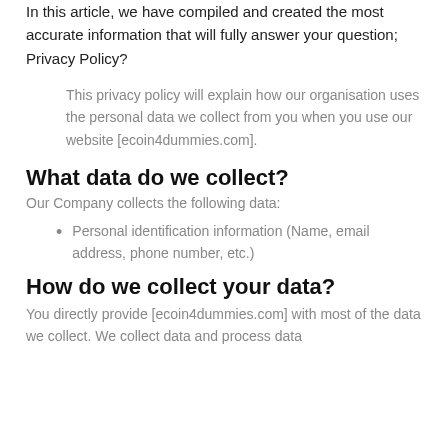In this article, we have compiled and created the most accurate information that will fully answer your question; Privacy Policy?
This privacy policy will explain how our organisation uses the personal data we collect from you when you use our website [ecoin4dummies.com].
What data do we collect?
Our Company collects the following data:
Personal identification information (Name, email address, phone number, etc.)
How do we collect your data?
You directly provide [ecoin4dummies.com] with most of the data we collect. We collect data and process data